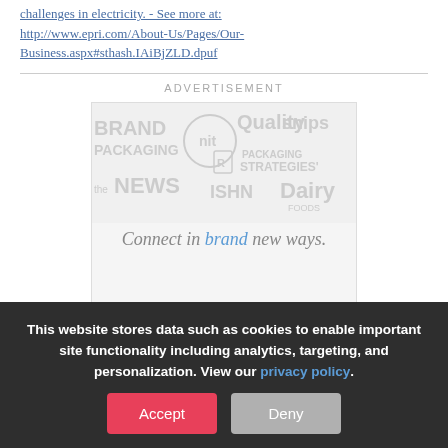challenges in electricity. - See more at: http://www.epri.com/About-Us/Pages/Our-Business.aspx#sthash.IAiBjZLD.dpuf
ADVERTISEMENT
[Figure (other): Advertisement image showing various media brand logos including BRAND PACKAGING, Quality, snips, PACKAGING STRATEGIES, the NEWS, ISHN, Dairy Foods, bnp media. Text reads 'Connect in brand new ways.']
This website stores data such as cookies to enable important site functionality including analytics, targeting, and personalization. View our privacy policy.
Accept
Deny